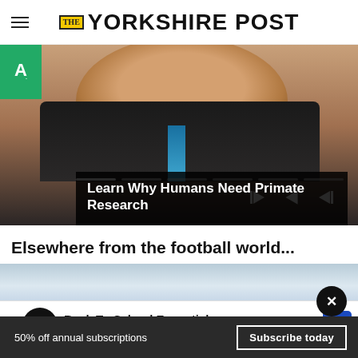THE YORKSHIRE POST
[Figure (screenshot): Video player showing a person in a dark suit and blue tie with video playback controls and progress bar. An ad badge with a green background and white A. logo appears top-left.]
Learn Why Humans Need Primate Research
Elsewhere from the football world...
[Figure (photo): Partial image strip with light blue/grey tones]
[Figure (screenshot): Advertisement banner: Back To School Essentials - Leesburg Premium Outlets]
50% off annual subscriptions
Subscribe today